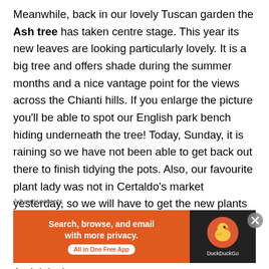Meanwhile, back in our lovely Tuscan garden the Ash tree has taken centre stage.  This year its new leaves are looking particularly lovely.  It is a big tree and offers shade during the summer months and a nice vantage point for the views across the Chianti hills.  If you enlarge the picture you'll be able to spot our English park bench hiding underneath the tree!  Today, Sunday, it is raining so we have not been able to get back out there to finish tidying the pots.  Also, our favourite plant lady was not in Certaldo's market yesterday, so we will have to get the new plants next weekend.  The rain was needed of course, we've had weeks without it, and the countryside certainly looks a lot greener and fresher now.  And, it is th
Advertisements
[Figure (screenshot): DuckDuckGo advertisement banner with orange left panel saying 'Search, browse, and email with more privacy. All in One Free App' and dark right panel with DuckDuckGo logo and duck icon.]